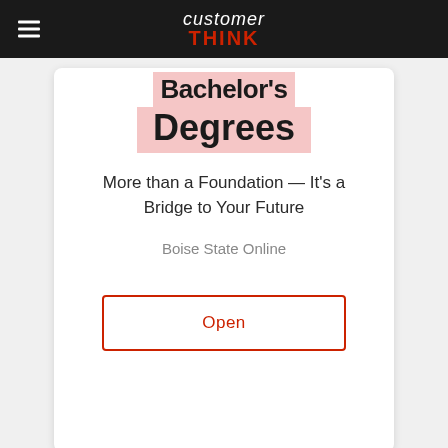customer THINK
Bachelor's Degrees
More than a Foundation — It's a Bridge to Your Future
Boise State Online
Open